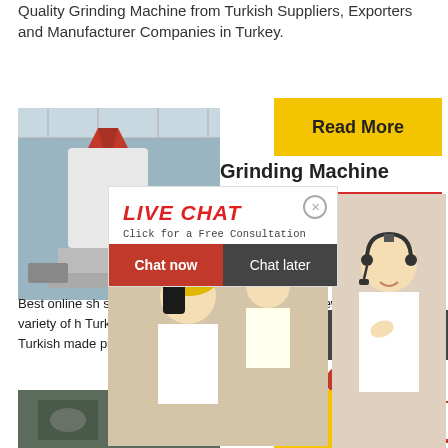Quality Grinding Machine from Turkish Suppliers, Exporters and Manufacturer Companies in Turkey.
[Figure (photo): Industrial grinding machine in a factory warehouse]
Read More
Grinding Machine
24Hrs Online
[Figure (photo): Live chat popup with worker photo and customer service agent. Title: LIVE CHAT, subtitle: Click for a Free Consultation. Buttons: Chat now, Chat later]
Best online sh... suppliers, ma... Turkish shoes, Turkish Jewelry, and a variety of h... Turkey products can be found here Your resource... all Turkish made products, and a place to meet Tu... manufacturers..
Need questions & suggestion?
Chat Now
Enquiry
limingjlmofen
[Figure (photo): Dark rocky/mineral surface photo]
Re...